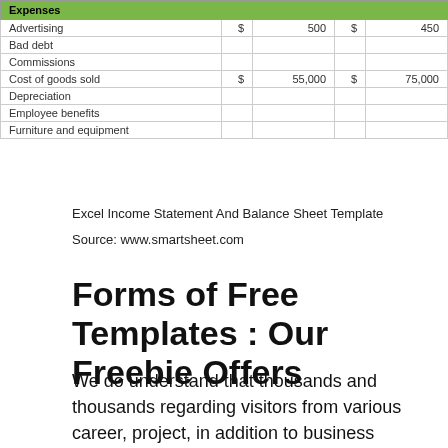| Expenses |  |  |  |  |
| --- | --- | --- | --- | --- |
| Advertising | $ | 500 | $ | 450 |
| Bad debt |  |  |  |  |
| Commissions |  |  |  |  |
| Cost of goods sold | $ | 55,000 | $ | 75,000 |
| Depreciation |  |  |  |  |
| Employee benefits |  |  |  |  |
| Furniture and equipment |  |  |  |  |
Excel Income Statement And Balance Sheet Template
Source: www.smartsheet.com
Forms of Free Templates : Our Freebie Offers
We do understand that thousands and thousands regarding visitors from various career, project, in addition to business backgrounds are usually always scouring the net for the finest templates for tasks. Therefore, the web templates offered in the free templates parts are of various categories, from personal and business web